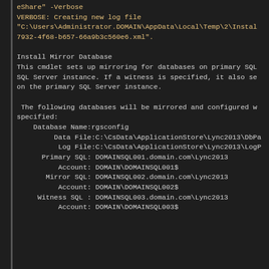eShare" -Verbose
VERBOSE: Creating new log file
"C:\Users\Administrator.DOMAIN\AppData\Local\Temp\2\Instal
7932-4f68-b657-66a9b3c560e6.xml".
Install Mirror Database
This cmdlet sets up mirroring for databases on primary SQL
SQL Server instance. If a witness is specified, it also se
on the primary SQL Server instance.
The following databases will be mirrored and configured w
specified:
    Database Name:rgsconfig
         Data File:C:\CsData\ApplicationStore\Lync2013\DbPa
          Log File:C:\CsData\ApplicationStore\Lync2013\LogP
      Primary SQL: DOMAINSQL001.domain.com\Lync2013
          Account: DOMAIN\DOMAINSQL001$
       Mirror SQL: DOMAINSQL002.domain.com\Lync2013
          Account: DOMAIN\DOMAINSQL002$
     Witness SQL : DOMAINSQL003.domain.com\Lync2013
          Account: DOMAIN\DOMAINSQL003$